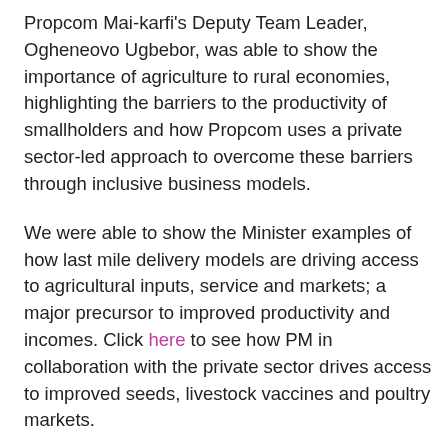Propcom Mai-karfi's Deputy Team Leader, Ogheneovo Ugbebor, was able to show the importance of agriculture to rural economies, highlighting the barriers to the productivity of smallholders and how Propcom uses a private sector-led approach to overcome these barriers through inclusive business models.
We were able to show the Minister examples of how last mile delivery models are driving access to agricultural inputs, service and markets; a major precursor to improved productivity and incomes. Click here to see how PM in collaboration with the private sector drives access to improved seeds, livestock vaccines and poultry markets.
Through our partnerships, we've improved the productivity and incomes of close to 1.3million people, with net additional incomes of £85million. For every £1 Ukaid invested, we have leveraged £2.1 of private sector investment.